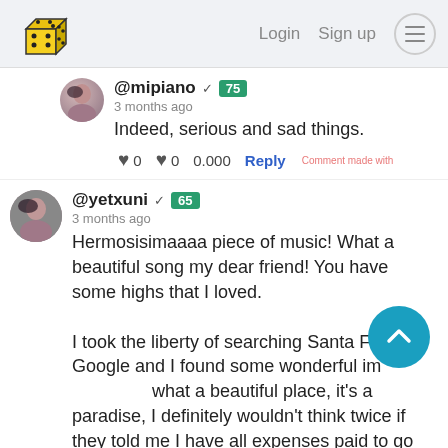Login   Sign up
@mipiano ✓ 75
3 months ago
Indeed, serious and sad things.
♥ 0   ♥ 0   0.000   Reply
@yetxuni ✓ 65
3 months ago
Hermosisimaaaa piece of music! What a beautiful song my dear friend! You have some highs that I loved.

I took the liberty of searching Santa Fe in Google and I found some wonderful images, what a beautiful place, it's a paradise, I definitely wouldn't think twice if they told me I have all expenses paid to go there, hehehehe